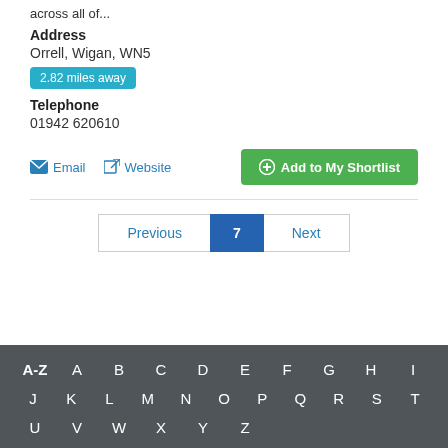across all of...
Address
Orrell, Wigan, WN5
2.82 miles away
Telephone
01942 620610
Email  Website  Add to My Shortlist
Previous  7  Next
A-Z  A  B  C  D  E  F  G  H  I  J  K  L  M  N  O  P  Q  R  S  T  U  V  W  X  Y  Z